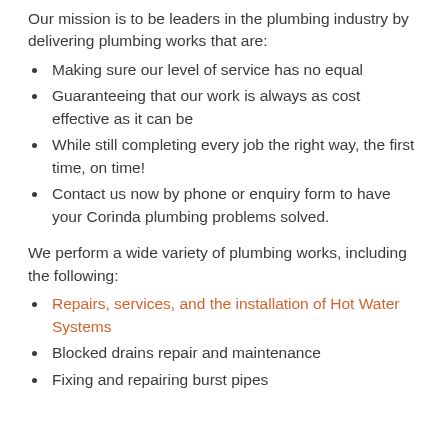Our mission is to be leaders in the plumbing industry by delivering plumbing works that are:
Making sure our level of service has no equal
Guaranteeing that our work is always as cost effective as it can be
While still completing every job the right way, the first time, on time!
Contact us now by phone or enquiry form to have your Corinda plumbing problems solved.
We perform a wide variety of plumbing works, including the following:
Repairs, services, and the installation of Hot Water Systems
Blocked drains repair and maintenance
Fixing and repairing burst pipes